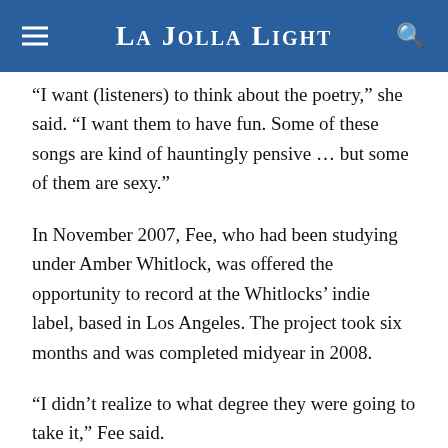La Jolla Light
“I want (listeners) to think about the poetry,” she said. “I want them to have fun. Some of these songs are kind of hauntingly pensive … but some of them are sexy.”
In November 2007, Fee, who had been studying under Amber Whitlock, was offered the opportunity to record at the Whitlocks’ indie label, based in Los Angeles. The project took six months and was completed midyear in 2008.
“I didn’t realize to what degree they were going to take it,” Fee said.
The studio crew included musicians affiliated with